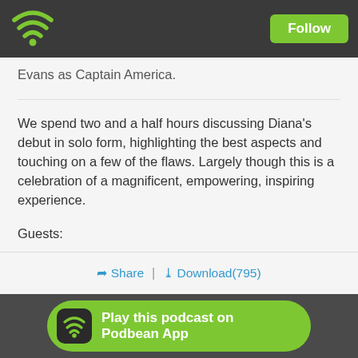Follow
Evans as Captain America.
We spend two and a half hours discussing Diana's debut in solo form, highlighting the best aspects and touching on a few of the flaws. Largely though this is a celebration of a magnificent, empowering, inspiring experience.
Guests:
Bob Chipman of Geek.com
Laura Kate Dale of Lets Play Video Games
Share | Download(795)
Play this podcast on Podbean App